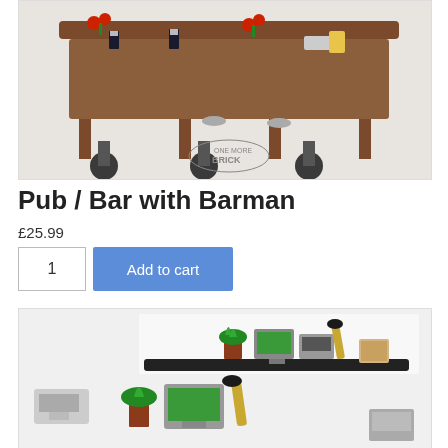[Figure (photo): LEGO Pub/Bar set with barman minifigure, showing brown bar counter with stools, Guinness pints, red flowers, and various bar accessories. One More Brick logo visible.]
Pub / Bar with Barman
£25.99
[Figure (photo): LEGO office/bar accessories set showing computer monitors, cash register, plant, lamp, and other desk items in gray and green colors, shown from two angles.]